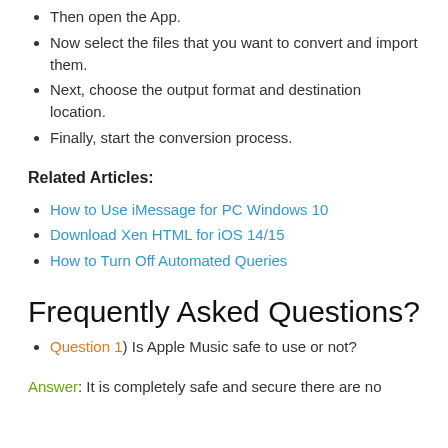Then open the App.
Now select the files that you want to convert and import them.
Next, choose the output format and destination location.
Finally, start the conversion process.
Related Articles:
How to Use iMessage for PC Windows 10
Download Xen HTML for iOS 14/15
How to Turn Off Automated Queries
Frequently Asked Questions?
Question 1) Is Apple Music safe to use or not?
Answer: It is completely safe and secure there are no